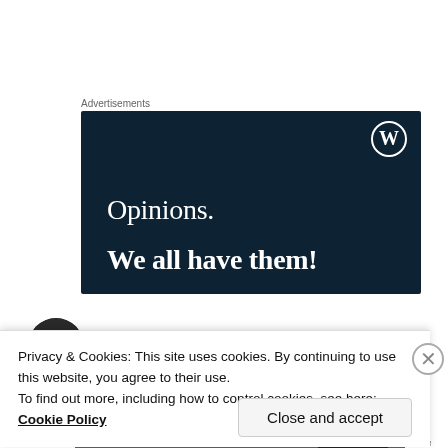Advertisements
[Figure (illustration): WordPress advertisement banner with dark navy background. Shows WordPress logo (W in circle) in top right corner. Text reads 'Opinions.' on first line and 'We all have them!' in bold on second line, both in white serif font.]
Parlor of Horror
Privacy & Cookies: This site uses cookies. By continuing to use this website, you agree to their use.
To find out more, including how to control cookies, see here: Cookie Policy
Close and accept